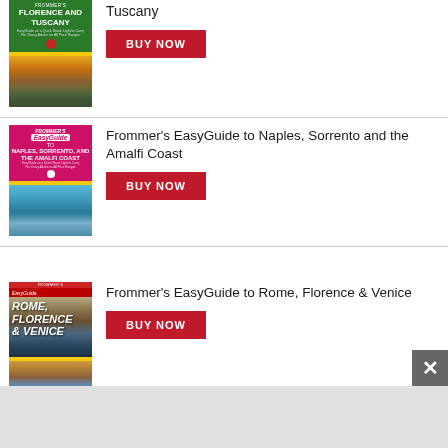[Figure (illustration): Frommer's Florence and Tuscany book cover - green top with white title text, tuscany landscape photo on bottom half]
Tuscany
[Figure (other): BUY NOW red button for Florence and Tuscany]
[Figure (illustration): Frommer's EasyGuide to Naples, Sorrento and the Amalfi Coast book cover - magenta/pink top with title, coastal town photo on bottom]
Frommer's EasyGuide to Naples, Sorrento and the Amalfi Coast
[Figure (other): BUY NOW red button for Naples book]
[Figure (illustration): Frommer's EasyGuide to Rome, Florence & Venice book cover - brown/sepia top with title text, Venice canal photo on bottom]
Frommer's EasyGuide to Rome, Florence & Venice
[Figure (other): BUY NOW red button for Rome Florence Venice book]